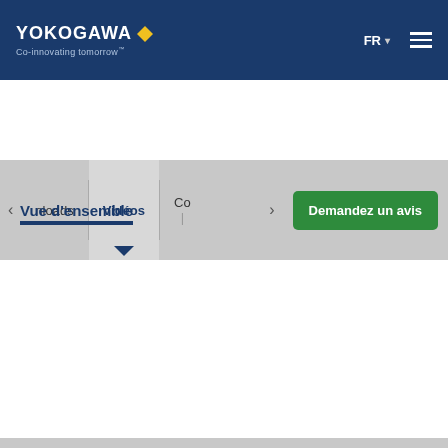[Figure (screenshot): Yokogawa website header with logo, 'Co-innovating tomorrow' tagline, FR language selector, and hamburger menu on dark blue background]
[Figure (screenshot): Navigation bar with left arrow, 'nloads', 'Vidéos' (active, with dropdown arrow), 'Co...' tabs, right arrow, and green 'Demandez un avis' CTA button]
Vue d'ensemble
[Figure (screenshot): Video thumbnail showing a person in a laboratory setting with a computer screen, overlaid with subtitle text, within a gray content card area with info icon]